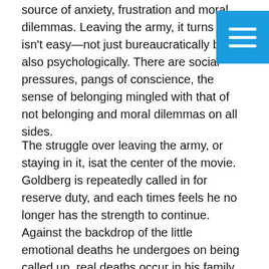source of anxiety, frustration and moral dilemmas. Leaving the army, it turns out, isn't easy—not just bureaucratically but also psychologically. There are social pressures, pangs of conscience, the sense of belonging mingled with that of not belonging and moral dilemmas on all sides.
The struggle over leaving the army, or staying in it, isat the center of the movie. Goldberg is repeatedly called in for reserve duty, and each times feels he no longer has the strength to continue. Against the backdrop of the little emotional deaths he undergoes on being called up, real deaths occur in his family. One after another, Goldberg's father, grandfather and grandmother pass away, and Goldberg –along with the movie and its viewers – is tossed back and forth between the literal and metaphorical axes of death.